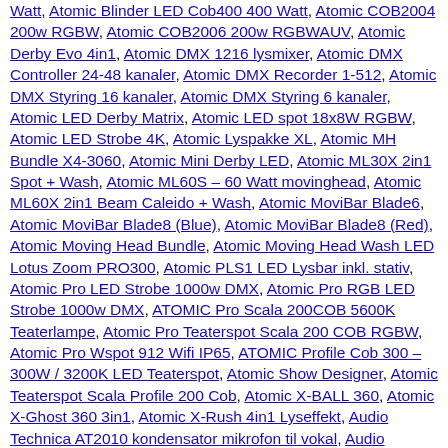Watt, Atomic Blinder LED Cob400 400 Watt, Atomic COB2004 200w RGBW, Atomic COB2006 200w RGBWAUV, Atomic Derby Evo 4in1, Atomic DMX 1216 lysmixer, Atomic DMX Controller 24-48 kanaler, Atomic DMX Recorder 1-512, Atomic DMX Styring 16 kanaler, Atomic DMX Styring 6 kanaler, Atomic LED Derby Matrix, Atomic LED spot 18x8W RGBW, Atomic LED Strobe 4K, Atomic Lyspakke XL, Atomic MH Bundle X4-3060, Atomic Mini Derby LED, Atomic ML30X 2in1 Spot + Wash, Atomic ML60S – 60 Watt movinghead, Atomic ML60X 2in1 Beam Caleido + Wash, Atomic MoviBar Blade6, Atomic MoviBar Blade8 (Blue), Atomic MoviBar Blade8 (Red), Atomic Moving Head Bundle, Atomic Moving Head Wash LED Lotus Zoom PRO300, Atomic PLS1 LED Lysbar inkl. stativ, Atomic Pro LED Strobe 1000w DMX, Atomic Pro RGB LED Strobe 1000w DMX, ATOMIC Pro Scala 200COB 5600K Teaterlampe, Atomic Pro Teaterspot Scala 200 COB RGBW, Atomic Pro Wspot 912 Wifi IP65, ATOMIC Profile Cob 300 – 300W / 3200K LED Teaterspot, Atomic Show Designer, Atomic Teaterspot Scala Profile 200 Cob, Atomic X-BALL 360, Atomic X-Ghost 360 3in1, Atomic X-Rush 4in1 Lyseffekt, Audio Technica AT2010 kondensator mikrofon til vokal, Audio Technica Pro9cW, Audio-Technica AT-LP120-USB pladespiller, Audio-Technica AT-LP140XP-BK – Sort, Audio-Technica AT-LP140XP-SV – Sølv, Audio-Technica AT2020, Audio-Technica AT2020USB+ USB mikrofon, Audio-Technica AT2020USBi USB mikrofon